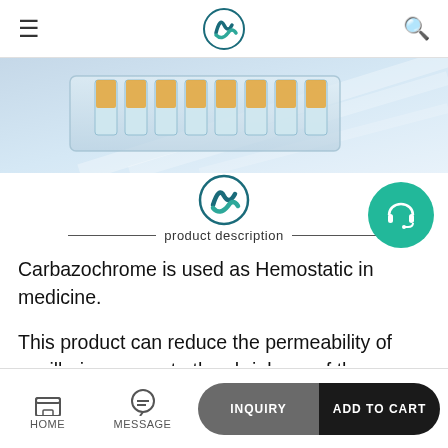≡  [Logo]  🔍
[Figure (photo): Laboratory vials/test tubes with orange liquid in a clear plastic holder on a light blue surface]
[Figure (logo): Company logo - circular S-shaped design in teal/dark green colors, with decorative lines and 'product description' text]
Carbazochrome is used as Hemostatic in medicine.
This product can reduce the permeability of capillaries, promote the shrinkage of the damaged capillary end and hemostasis.It is mainly used for hemorrhage caused by increased capillary
HOME   MESSAGE   INQUIRY   ADD TO CART